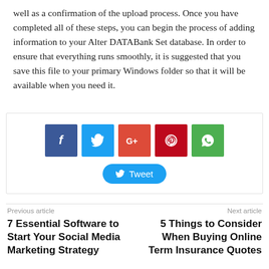well as a confirmation of the upload process. Once you have completed all of these steps, you can begin the process of adding information to your Alter DATABank Set database. In order to ensure that everything runs smoothly, it is suggested that you save this file to your primary Windows folder so that it will be available when you need it.
[Figure (infographic): Social sharing widget with Facebook, Twitter, Google+, Pinterest, WhatsApp icon buttons and a Tweet button]
Previous article
Next article
7 Essential Software to Start Your Social Media Marketing Strategy
5 Things to Consider When Buying Online Term Insurance Quotes